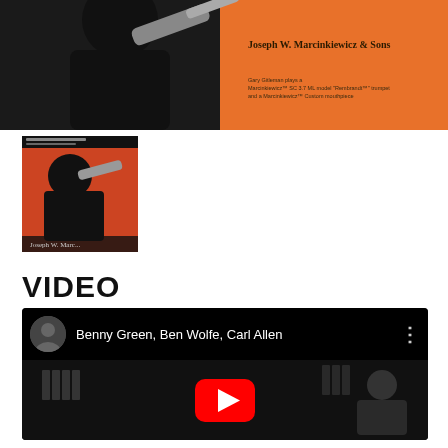[Figure (photo): Banner image: trumpet player in black suit performing, orange background with text 'Joseph W. Marcinkiewicz & Sons' and caption 'Gary Gitleman plays a Marcinkiewicz™ SC 3.7 ML model Rembrandt™ trumpet and a Marcinkiewicz™ Custom mouthpiece']
[Figure (photo): Small album cover thumbnail with trumpet player on orange/red background]
VIDEO
[Figure (screenshot): YouTube video embed showing 'Benny Green, Ben Wolfe, Carl Allen' with play button, circular avatar thumbnail, and three-dot menu icon]